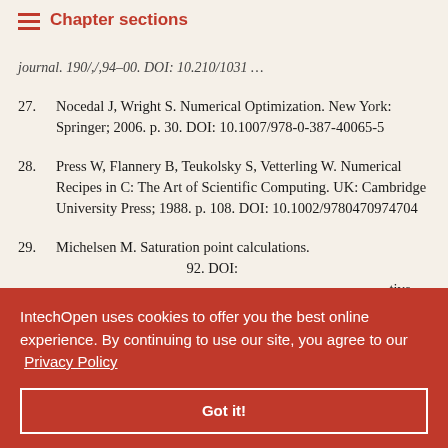Chapter sections
journal. 190/,/,94-00. DOI: 10.210/1031 [partial/truncated]
27. Nocedal J, Wright S. Numerical Optimization. New York: Springer; 2006. p. 30. DOI: 10.1007/978-0-387-40065-5
28. Press W, Flannery B, Teukolsky S, Vetterling W. Numerical Recipes in C: The Art of Scientific Computing. UK: Cambridge University Press; 1988. p. 108. DOI: 10.1002/9780470974704
29. Michelsen M. Saturation point calculations. [partial] 92. DOI: [partial] tive flash. [partial] DOI:
IntechOpen uses cookies to offer you the best online experience. By continuing to use our site, you agree to our Privacy Policy. Got it!